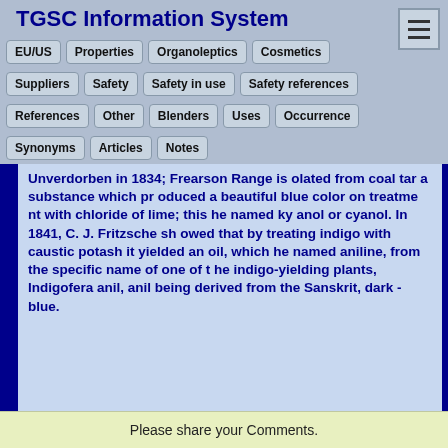TGSC Information System
EU/US
Properties
Organoleptics
Cosmetics
Suppliers
Safety
Safety in use
Safety references
References
Other
Blenders
Uses
Occurrence
Synonyms
Articles
Notes
Unverdorben in 1834; Frearson Range isolated from coal tar a substance which produced a beautiful blue color on treatment with chloride of lime; this he named kyanol or cyanol. In 1841, C. J. Fritzsche showed that by treating indigo with caustic potash it yielded an oil, which he named aniline, from the specific name of one of the indigo-yielding plants, Indigofera anil, anil being derived from the Sanskrit, dark-blue.
Please share your Comments.